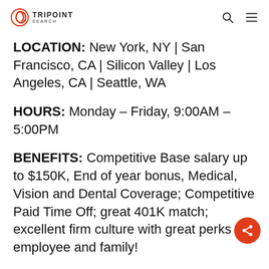TRIPOINT SEARCH
LOCATION: New York, NY | San Francisco, CA | Silicon Valley | Los Angeles, CA | Seattle, WA
HOURS: Monday – Friday, 9:00AM – 5:00PM
BENEFITS: Competitive Base salary up to $150K, End of year bonus, Medical, Vision and Dental Coverage; Competitive Paid Time Off; great 401K match; excellent firm culture with great perks for employee and family!